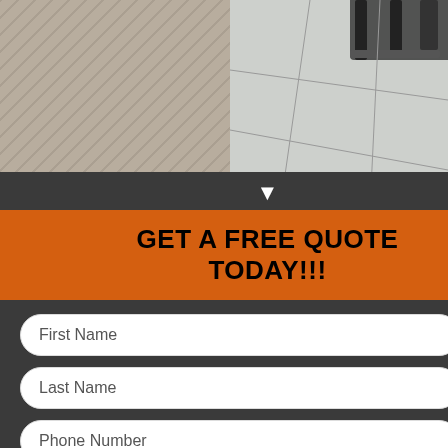[Figure (photo): Two flooring photos side by side: left shows a textured/aggregate floor surface, right shows polished tile/epoxy floor with grid lines; cart or equipment visible at top right]
[Figure (infographic): Orange and dark gray popup form overlay with 'GET A FREE QUOTE TODAY!!!' header, form fields for First Name, Last Name, Phone Number, Email, and a yellow SUBMIT button, with VOID WHERE PROHIBITED disclaimer]
Epoxy Flooring
Cement Epoxies Have An Ideal For Mixed-Material s Needed
l for situations where you urability but also need hrough oil, grease, dirt, for permanent repairs to or even autos because it